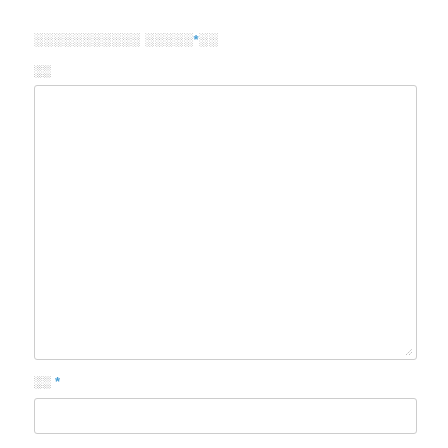ааааааааааа ааааа*аа
аа
[Figure (other): Large empty textarea input field with resize handle at bottom-right corner]
аа *
[Figure (other): Single-line text input field]